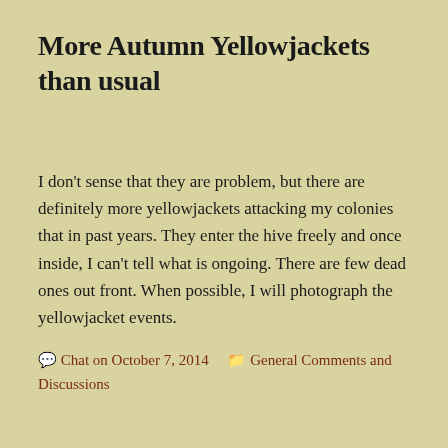More Autumn Yellowjackets than usual
I don't sense that they are problem, but there are definitely more yellowjackets attacking my colonies that in past years.  They enter the hive freely and once inside, I can't tell what is ongoing.  There are few dead ones out front.  When possible, I will photograph the yellowjacket events.
Chat on October 7, 2014   General Comments and Discussions